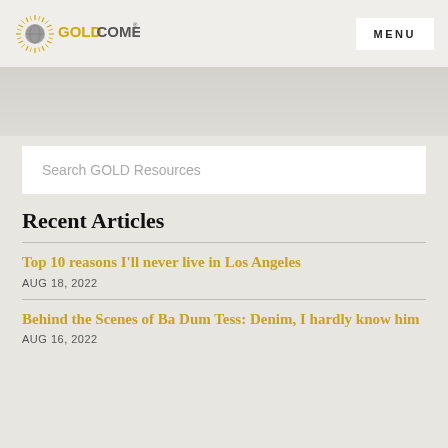GOLD COMEDY | MENU
Search GOLD Resources
Recent Articles
Top 10 reasons I'll never live in Los Angeles
AUG 18, 2022
Behind the Scenes of Ba Dum Tess: Denim, I hardly know him
AUG 16, 2022